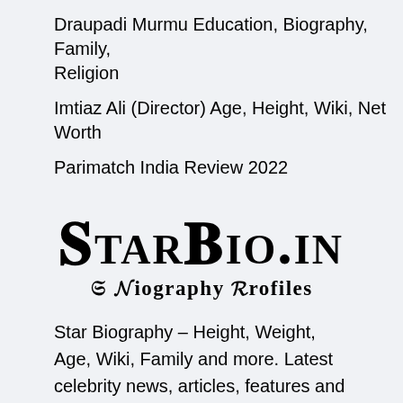Draupadi Murmu Education, Biography, Family, Religion
Imtiaz Ali (Director) Age, Height, Wiki, Net Worth
Parimatch India Review 2022
[Figure (logo): StarBio.in logo with blackletter/gothic font style text 'StarBio.in' and subtitle 'A Biography Profiles']
Star Biography – Height, Weight, Age, Wiki, Family and more. Latest celebrity news, articles, features and commentary, know about all celebrity topics and